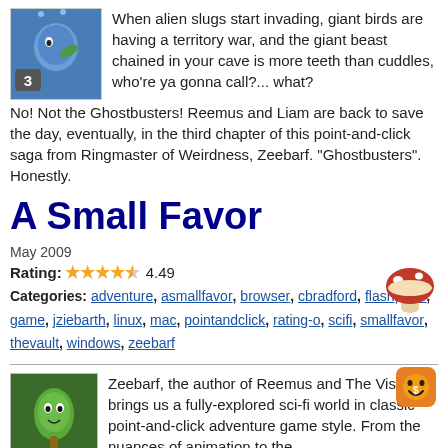When alien slugs start invading, giant birds are having a territory war, and the giant beast chained in your cave is more teeth than cuddles, who're ya gonna call?... what? No! Not the Ghostbusters! Reemus and Liam are back to save the day, eventually, in the third chapter of this point-and-click saga from Ringmaster of Weirdness, Zeebarf. "Ghostbusters". Honestly.
A Small Favor
May 2009
Rating: 4.49
Categories: adventure, asmallfavor, browser, cbradford, flash, free, game, jziebarth, linux, mac, pointandclick, rating-o, scifi, smallfavor, thevault, windows, zeebarf
Zeebarf, the author of Reemus and The Visitor, brings us a fully-explored sci-fi world in classic point-and-click adventure game style. From the nuances of animation to the excellent puzzles to the rich storytelling, A Small